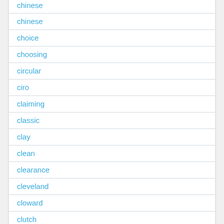chinese
choice
choosing
circular
ciro
claiming
classic
clay
clean
clearance
cleveland
cloward
clutch